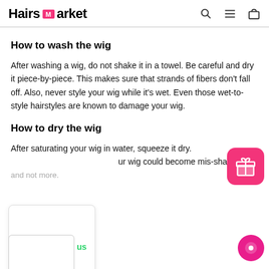Hairs Market
How to wash the wig
After washing a wig, do not shake it in a towel. Be careful and dry it piece-by-piece. This makes sure that strands of fibers don't fall off. Also, never style your wig while it's wet. Even those wet-to-style hairstyles are known to damage your wig.
How to dry the wig
After saturating your wig in water, squeeze it dry. [y]our wig could become mis-shaped and not more.